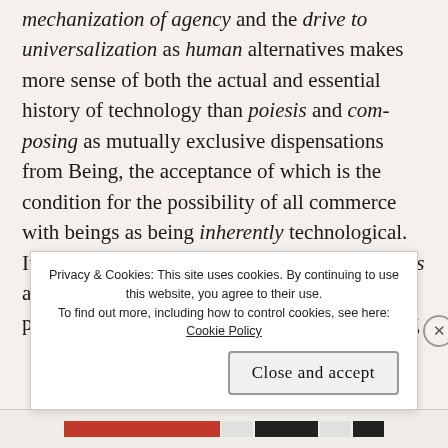mechanization of agency and the drive to universalization as human alternatives makes more sense of both the actual and essential history of technology than poiesis and com-posing as mutually exclusive dispensations from Being, the acceptance of which is the condition for the possibility of all commerce with beings as being inherently technological. It may be that Heidegger is wrong about poiesis and com-posing but right that Being provides Dasein's manner of disclosive looking and t... t...
Privacy & Cookies: This site uses cookies. By continuing to use this website, you agree to their use. To find out more, including how to control cookies, see here: Cookie Policy